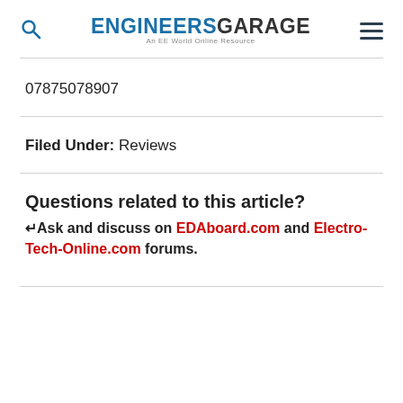ENGINEERS GARAGE - An EE World Online Resource
07875078907
Filed Under: Reviews
Questions related to this article?
↵Ask and discuss on EDAboard.com and Electro-Tech-Online.com forums.